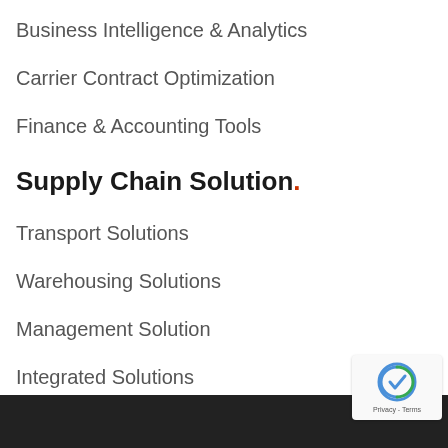Business Intelligence & Analytics
Carrier Contract Optimization
Finance & Accounting Tools
Supply Chain Solution.
Transport Solutions
Warehousing Solutions
Management Solution
Integrated Solutions